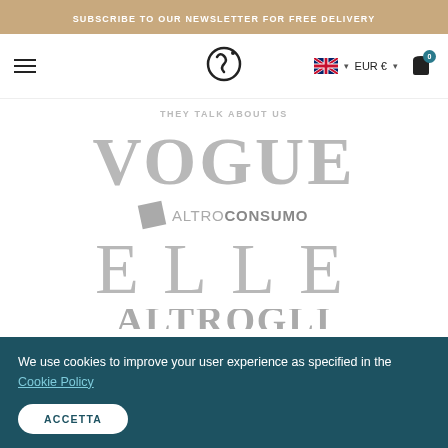SUBSCRIBE TO OUR NEWSLETTER FOR FREE DELIVERY
[Figure (logo): Website navigation bar with hamburger menu, circular logo mark with dot, UK flag, EUR € currency selector, and shopping bag icon with 0 badge]
THEY TALK ABOUT US
[Figure (logo): VOGUE logo in large gray serif font]
[Figure (logo): ALTROCONSUMO logo with rotated gray square icon and text]
[Figure (logo): ELLE logo in large gray serif font with wide letter spacing]
[Figure (logo): Partially visible logo at bottom of page]
We use cookies to improve your user experience as specified in the Cookie Policy
ACCETTA